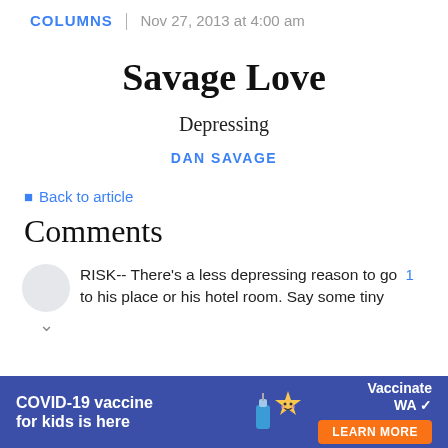COLUMNS | Nov 27, 2013 at 4:00 am
Savage Love
Depressing
DAN SAVAGE
← Back to article
Comments
RISK-- There's a less depressing reason to go to his place or his hotel room. Say some tiny
[Figure (infographic): COVID-19 vaccine advertisement banner: 'COVID-19 vaccine for kids is here' with vaccine bottle mascot star character, Vaccinate WA logo, and LEARN MORE button]